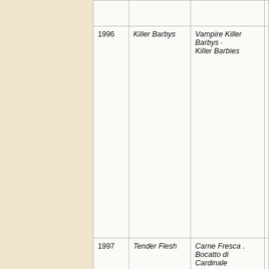| Year | Title | Alternative Titles | Notes |
| --- | --- | --- | --- |
|  |  |  | de… |
| 1996 | Killer Barbys | Vampire Killer Barbys · Killer Barbies | Fr… bu… fil… sti… of… w… A… Su… Sa… th… Sp… el… |
| 1997 | Tender Flesh | Carne Fresca . Bocatto di Cardinale | Pr… Co… Ga… Re… Ne… Al… Pa… Sa… Da… |